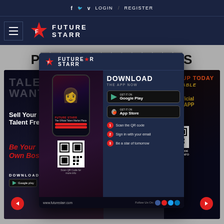f  twitter  v  LOGIN  /  REGISTER
[Figure (logo): FutureStarr logo with star icon and hamburger menu in dark navy header bar]
P...S (partially obscured by popup)
[Figure (infographic): FutureStarr app download popup overlay showing phone mockup, DOWNLOAD THE APP NOW heading, Google Play and App Store buttons, QR code, steps: 1) Scan the QR code 2) Sign in with your email 3) Be a star of tomorrow, footer with www.futurestarr.com and social icons]
[Figure (infographic): FutureStarr website carousel showing: left panel with TALENT WANTED text, Sell Your Talent Free, Be Your Own Boss in red italic, DOWNLOAD NOW, Google Play button; center panel with phone showing FutureStarr app; right panel with SIGNUP TODAY, AVAILABLE NOW, Our Official Mobile APP, QR code, SCAN QR CODE FOR MORE INFO]
[Figure (infographic): Previous and Next navigation buttons (red circular arrows) at bottom of carousel]